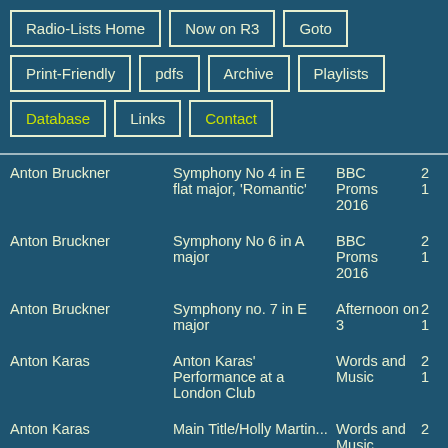Radio-Lists Home
Now on R3
Goto
Print-Friendly
pdfs
Archive
Playlists
Database
Links
Contact
| Composer | Work | Show |  |
| --- | --- | --- | --- |
| Anton Bruckner | Symphony No 4 in E flat major, 'Romantic' | BBC Proms 2016 | 2...1 |
| Anton Bruckner | Symphony No 6 in A major | BBC Proms 2016 | 2...1 |
| Anton Bruckner | Symphony no. 7 in E major | Afternoon on 3 | 2...1 |
| Anton Karas | Anton Karas' Performance at a London Club | Words and Music | 2...1 |
| Anton Karas | Main Title/Holly Martin... | Words and Music | 2... |